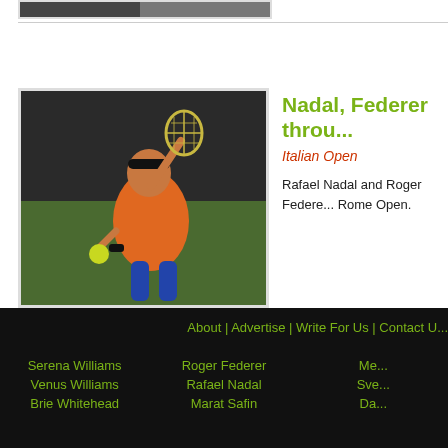[Figure (photo): Top strip showing partial photo of a person, cropped at top of page]
[Figure (photo): Rafael Nadal playing tennis at the Italian Open / Rome Open, wearing orange shirt, hitting forehand]
Nadal, Federer throu...
Italian Open
Rafael Nadal and Roger Federer... Rome Open.
« Older Posts
About | Advertise | Write For Us | Contact U...
Serena Williams
Venus Williams
Brie Whitehead
Roger Federer
Rafael Nadal
Marat Safin
Me...
Sve...
Da...